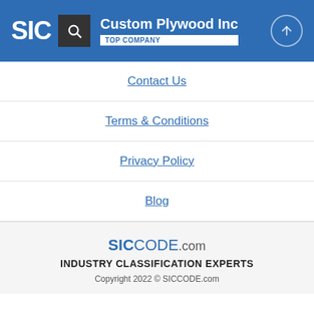SIC — Custom Plywood Inc TOP COMPANY
Contact Us
Terms & Conditions
Privacy Policy
Blog
SICCODE.com INDUSTRY CLASSIFICATION EXPERTS Copyright 2022 © SICCODE.com